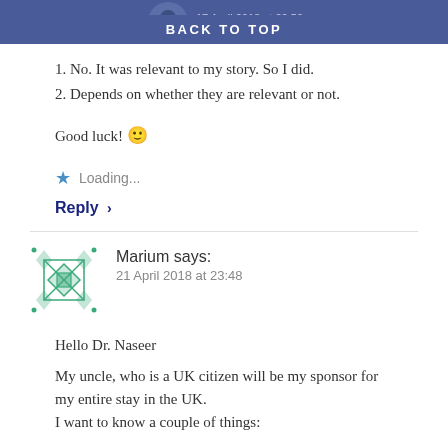17 April 2018 at 20:59  BACK TO TOP
1. No. It was relevant to my story. So I did.
2. Depends on whether they are relevant or not.
Good luck! 🙂
Loading...
Reply ›
Marium says:
21 April 2018 at 23:48
Hello Dr. Naseer
My uncle, who is a UK citizen will be my sponsor for my entire stay in the UK.
I want to know a couple of things: